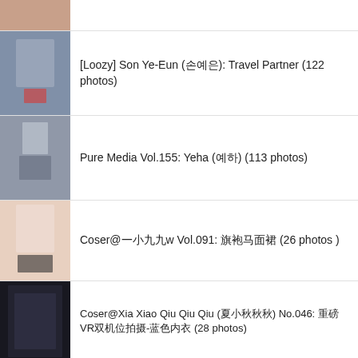[Figure (photo): Thumbnail image at top, partial view]
[Loozy] Son Ye-Eun (손예은): Travel Partner (122 photos)
Pure Media Vol.155: Yeha (예하) (113 photos)
Coser@一小九九w Vol.091: 旗袍马面裙 (26 photos )
Coser@Xia Xiao Qiu Qiu Qiu (夏小秋秋秋) No.046: 重磅VR双机位拍摄-蓝色内衣 (28 photos)
[Figure (photo): Thumbnail image at bottom, partial view]